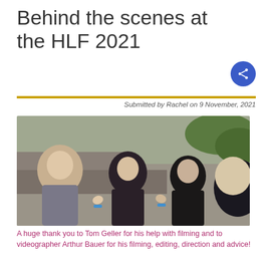Behind the scenes at the HLF 2021
Submitted by Rachel on 9 November, 2021
[Figure (photo): Group selfie photo of four people outdoors giving thumbs up at HLF 2021]
A huge thank you to Tom Geller for his help with filming and to videographer Arthur Bauer for his filming, editing, direction and advice!